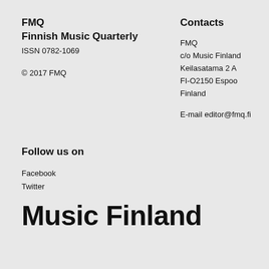FMQ
Finnish Music Quarterly
ISSN 0782-1069
© 2017 FMQ
Contacts
FMQ
c/o Music Finland
Keilasatama 2 A
FI-O2150 Espoo
Finland
E-mail editor@fmq.fi
Follow us on
Facebook
Twitter
Music Finland